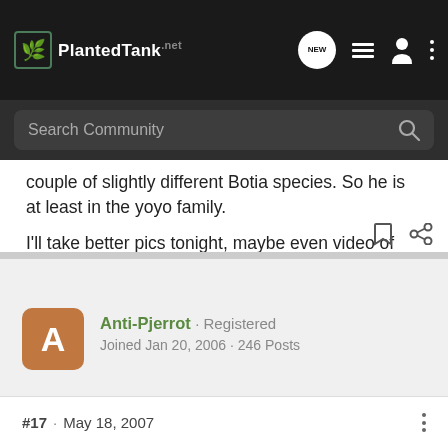PlantedTank · NEW (nav icon) · list icon · user icon · more icon
Search Community
couple of slightly different Botia species. So he is at least in the yoyo family.

I'll take better pics tonight, maybe even video of this lil rockstar!
Anti-Pjerrot · Registered
Joined Jan 20, 2006 · 246 Posts
#17 · May 18, 2007
Botia almorhae, formely knows as Botia lohachata. Also calles